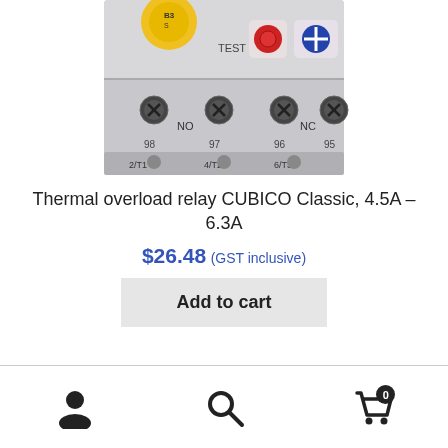[Figure (photo): Close-up photo of a thermal overload relay CUBICO Classic showing terminal screws labeled NO, NC, 98, 97, 96, 95, 2/T1, 4/T2, 6/T3, TEST button, red and blue buttons on top, and yellow adjustment dial.]
Thermal overload relay CUBICO Classic, 4.5A – 6.3A
$26.48 (GST inclusive)
Add to cart
User icon | Search icon | Cart icon with badge 0